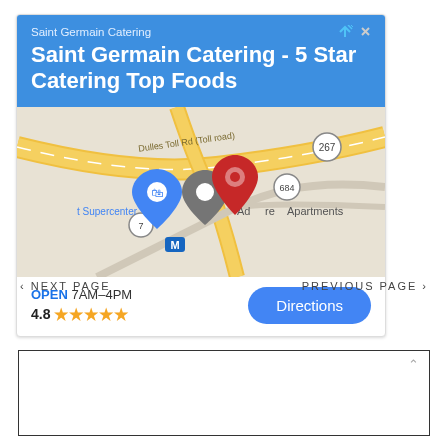[Figure (screenshot): Google Maps ad card for Saint Germain Catering showing a blue header with business name and tagline 'Saint Germain Catering - 5 Star Catering Top Foods', a map thumbnail showing Dulles Toll Road area with location pins, and a footer with open hours '7AM-4PM', rating '4.8' with 5 stars, and a blue 'Directions' button.]
< NEXT PAGE
PREVIOUS PAGE >